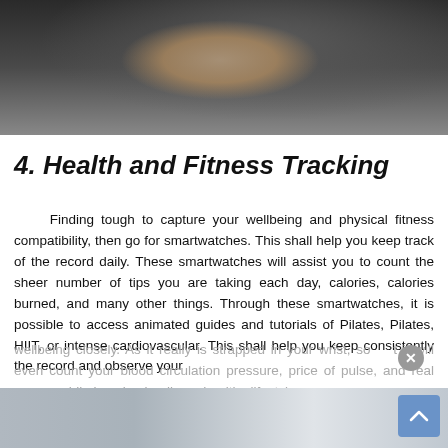[Figure (photo): Close-up photo of a hand with a smartwatch/fitness tracker on wrist, dark background]
4. Health and Fitness Tracking
Finding tough to capture your wellbeing and physical fitness compatibility, then go for smartwatches. This shall help you keep track of the record daily. These smartwatches will assist you to count the sheer number of tips you are taking each day, calories, calories burned, and many other things. Through these smartwatches, it is possible to access animated guides and tutorials of Pilates, Pilates, HIIT, or intense cardiovascular. This shall help you keep consistently the record and observe your
wellbeing closely. As it really is strapped in your wrist, so it will even count your blood circulation pressure, price of pulse, and real energy while keeping leading a healthy lifestyle.
[Figure (photo): Partial bottom photo, blurred, showing light gray/blue tones]